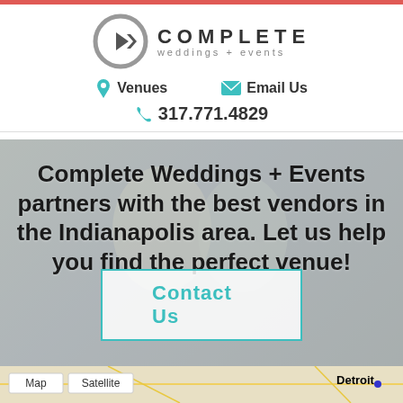[Figure (logo): Complete Weddings + Events logo with circular C icon and play/pause symbol]
Venues
Email Us
317.771.4829
Complete Weddings + Events partners with the best vendors in the Indianapolis area. Let us help you find the perfect venue!
Contact Us
[Figure (map): Google Maps view showing Indianapolis area with Detroit label visible in upper right]